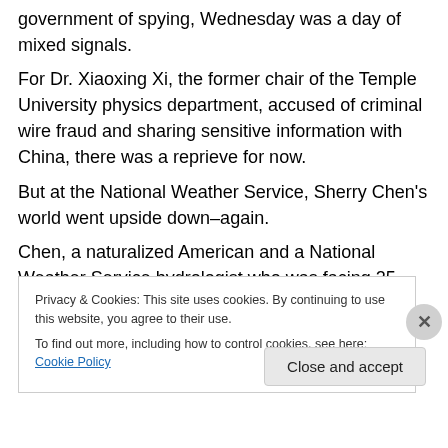government of spying, Wednesday was a day of mixed signals.
For Dr. Xiaoxing Xi, the former chair of the Temple University physics department, accused of criminal wire fraud and sharing sensitive information with China, there was a reprieve for now.
But at the National Weather Service, Sherry Chen's world went upside down–again.
Chen, a naturalized American and a National Weather Service hydrologist who was facing 25 years in prison and $1 million in fines for espionage-related charges, the...
Privacy & Cookies: This site uses cookies. By continuing to use this website, you agree to their use.
To find out more, including how to control cookies, see here: Cookie Policy